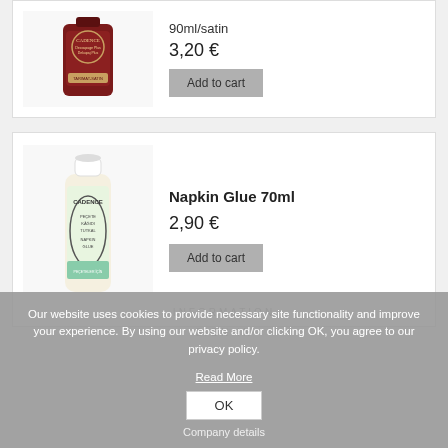[Figure (photo): Cadence Decoupage Plus satin product bottle, dark red/maroon label]
90ml/satin
3,20 €
Add to cart
[Figure (photo): Cadence Napkin Glue 70ml product bottle, white bottle with teal/green label]
Napkin Glue 70ml
2,90 €
Add to cart
Our website uses cookies to provide necessary site functionality and improve your experience. By using our website and/or clicking OK, you agree to our privacy policy.
Read More
OK
Company details